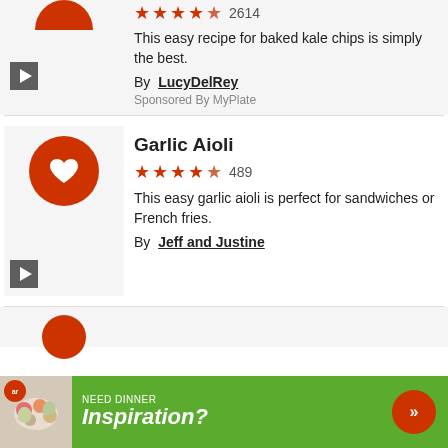This easy recipe for baked kale chips is simply the best.
By LucyDelRey
Sponsored By MyPlate
Garlic Aioli
489 (rating: 4.5 stars)
This easy garlic aioli is perfect for sandwiches or French fries.
By Jeff and Justine
[Figure (infographic): Green advertisement banner reading NEED DINNER Inspiration? with arrow button and food photo]